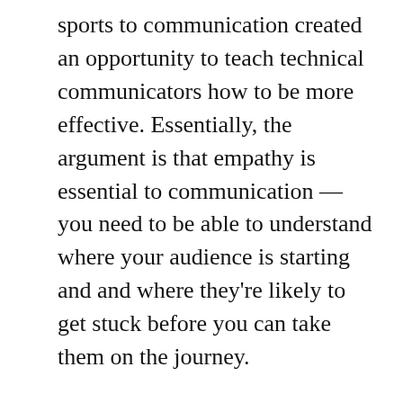sports to communication created an opportunity to teach technical communicators how to be more effective. Essentially, the argument is that empathy is essential to communication — you need to be able to understand where your audience is starting and and where they're likely to get stuck before you can take them on the journey.
Unsurprisingly given the topic of the book, this is a well written and engaging read. The book is nicely structured and uses regular anecdotes (some of them humorous) to get its